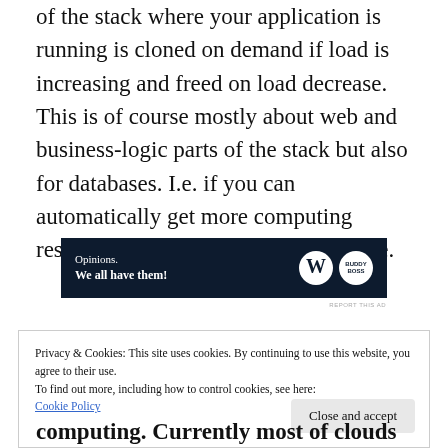of the stack where your application is running is cloned on demand if load is increasing and freed on load decrease. This is of course mostly about web and business-logic parts of the stack but also for databases. I.e. if you can automatically get more computing resources and/or more scaled database.
[Figure (other): Advertisement banner with dark navy background showing 'Opinions. We all have them!' with WordPress and BuddyBoss logos on the right.]
REPORT THIS AD
Privacy & Cookies: This site uses cookies. By continuing to use this website, you agree to their use.
To find out more, including how to control cookies, see here:
Cookie Policy
computing. Currently most of clouds